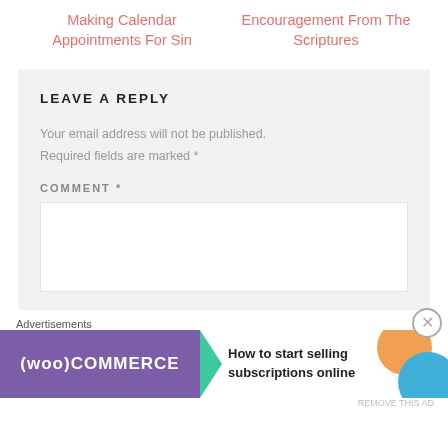Making Calendar Appointments For Sin
Encouragement From The Scriptures
LEAVE A REPLY
Your email address will not be published. Required fields are marked *
COMMENT *
Advertisements
[Figure (screenshot): WooCommerce advertisement banner: purple left section with WooCommerce logo and teal arrow, white right section with text 'How to start selling subscriptions online' and orange/blue circle accents]